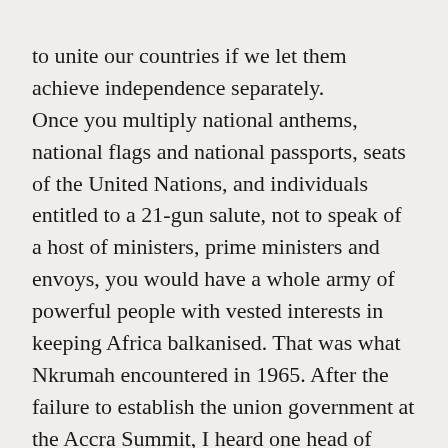to unite our countries if we let them achieve independence separately. Once you multiply national anthems, national flags and national passports, seats of the United Nations, and individuals entitled to a 21-gun salute, not to speak of a host of ministers, prime ministers and envoys, you would have a whole army of powerful people with vested interests in keeping Africa balkanised. That was what Nkrumah encountered in 1965. After the failure to establish the union government at the Accra Summit, I heard one head of state express with relief that he was happy to be returning home to his country still head of state. To this day, I cannot tell whether he was serious or joking. But he may well have been serious, because Kwame Nkrumah was very serious and the fear of a number of us of losing our precious status was quite palpable